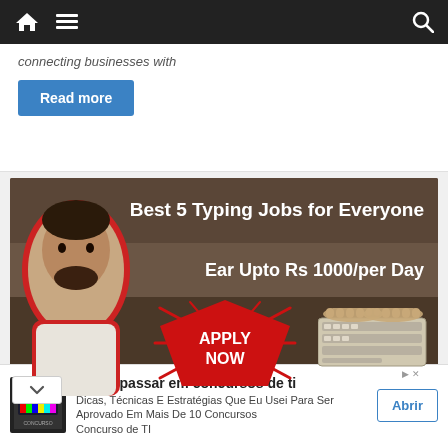Navigation bar with home, menu, and search icons
connecting businesses with
Read more
[Figure (infographic): Promotional banner: Best 5 Typing Jobs for Everyone - Ear Upto Rs 1000/per Day - Apply Now, with a person pointing and keyboard illustration]
Como passar em concursos de ti
Dicas, Técnicas E Estratégias Que Eu Usei Para Ser Aprovado Em Mais De 10 Concursos Concurso de TI
Abrir